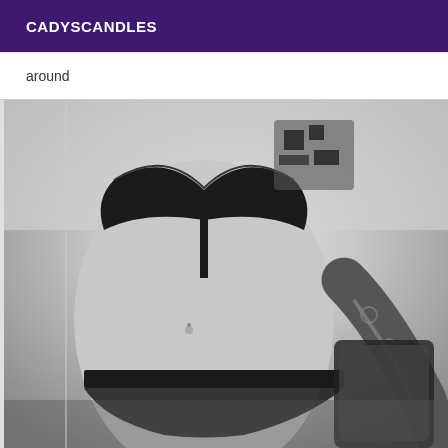CADYSCANDLES
around
[Figure (photo): Black and white selfie photograph showing a person in black lingerie (bra and underwear) with visible tattoos on their arm and shoulder area, taking a mirror selfie]